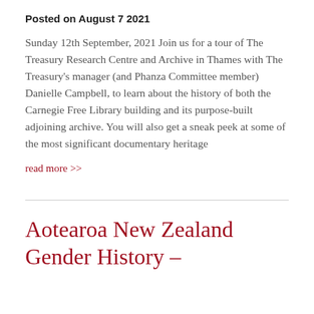Posted on August 7 2021
Sunday 12th September, 2021 Join us for a tour of The Treasury Research Centre and Archive in Thames with The Treasury's manager (and Phanza Committee member) Danielle Campbell, to learn about the history of both the Carnegie Free Library building and its purpose-built adjoining archive. You will also get a sneak peek at some of the most significant documentary heritage
read more >>
Aotearoa New Zealand Gender History –